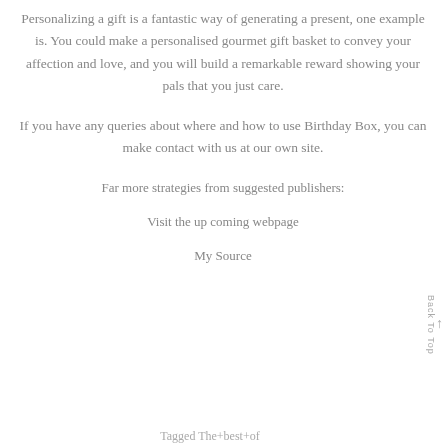Personalizing a gift is a fantastic way of generating a present, one example is. You could make a personalised gourmet gift basket to convey your affection and love, and you will build a remarkable reward showing your pals that you just care.
If you have any queries about where and how to use Birthday Box, you can make contact with us at our own site.
Far more strategies from suggested publishers:
Visit the up coming webpage
My Source
Tagged The+best+of